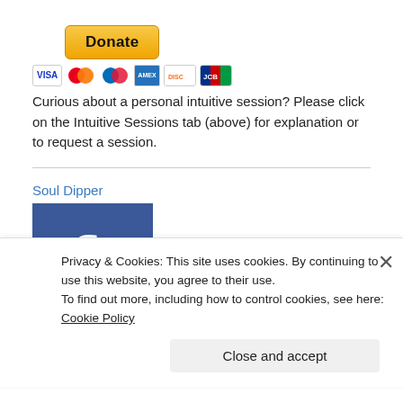[Figure (other): Yellow PayPal Donate button]
[Figure (other): Payment card icons: VISA, Mastercard, Maestro, American Express, Discover, JCB]
Curious about a personal intuitive session? Please click on the Intuitive Sessions tab (above) for explanation or to request a session.
Soul Dipper
[Figure (logo): Facebook logo — white 'f' on blue square background]
Privacy & Cookies: This site uses cookies. By continuing to use this website, you agree to their use.
To find out more, including how to control cookies, see here: Cookie Policy
Close and accept